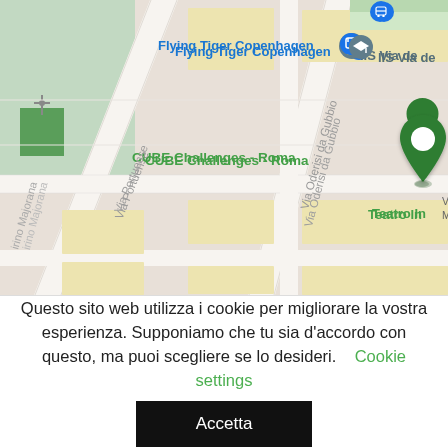[Figure (map): Google Maps screenshot showing Viale Guglielmo Marconi area in Rome, Italy. Visible labels include Flying Tiger Copenhagen, CUBE Challenges - Roma, IIS Via de, Teatro In, Viale Marconi, H10 Roma Città, Via Portuense, Via Oderisi da Gubbio. A green location pin is placed at Viale Guglielmo Marconi, 70, 00146. Multiple blue bus stop icons visible. Map shows street grid with yellow/beige building blocks and green park area.]
Questo sito web utilizza i cookie per migliorare la vostra esperienza. Supponiamo che tu sia d'accordo con questo, ma puoi scegliere se lo desideri. Cookie settings
Accetta